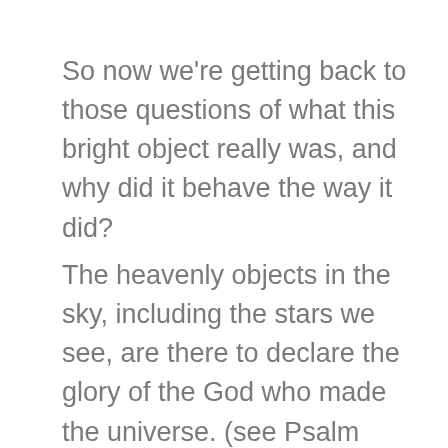So now we're getting back to those questions of what this bright object really was, and why did it behave the way it did?
The heavenly objects in the sky, including the stars we see, are there to declare the glory of the God who made the universe. (see Psalm 19v1).